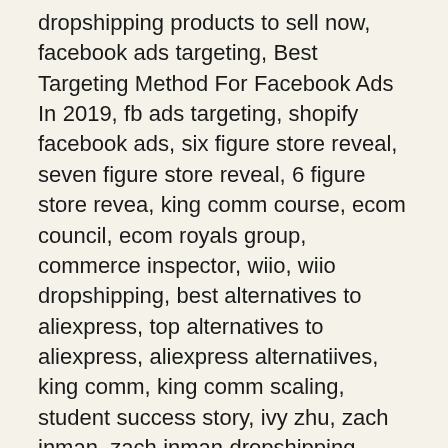dropshipping products to sell now, facebook ads targeting, Best Targeting Method For Facebook Ads In 2019, fb ads targeting, shopify facebook ads, six figure store reveal, seven figure store reveal, 6 figure store revea, king comm course, ecom council, ecom royals group, commerce inspector, wiio, wiio dropshipping, best alternatives to aliexpress, top alternatives to aliexpress, aliexpress alternatiives, king comm, king comm scaling, student success story, ivy zhu, zach inman, zach inman dropshipping, deadly dropshipping niches, niches to sell 2019, best shopify niches, gabriel st germain product research, king comm facebook ads, good shopify stores, good dropshipping stores, good shopify store design, facebook ads, facebook ads course, facebook ads gabriel st germain, gabriel st germain course, free course dropshipping, free course facebook ads, passive income, passive income online, pat flynn,